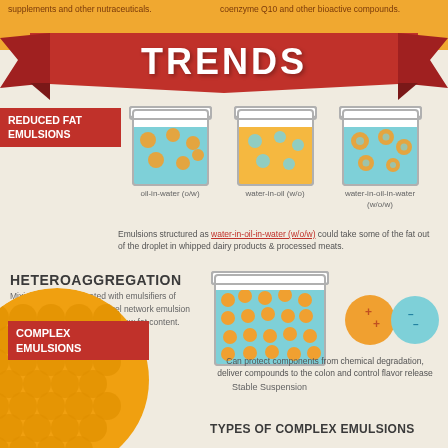supplements and other nutraceuticals.
coenzyme Q10 and other bioactive compounds.
TRENDS
REDUCED FAT EMULSIONS
[Figure (illustration): Three beakers showing oil-in-water (o/w), water-in-oil (w/o), and water-in-oil-in-water (w/o/w) emulsion types]
oil-in-water (o/w)
water-in-oil (w/o)
water-in-oil-in-water (w/o/w)
Emulsions structured as water-in-oil-in-water (w/o/w) could take some of the fat out of the droplet in whipped dairy products & processed meats.
HETEROAGGREGATION
Mixing oil droplets coated with emulsifiers of opposite charge creates a gel network emulsion with a very high viscosity and low fat content.
[Figure (illustration): Beaker showing stable suspension with many orange droplets and two charge circles with + and - symbols]
Stable Suspension
[Figure (illustration): Large orange circle with hexagonal dot pattern representing complex emulsions]
COMPLEX EMULSIONS
Can protect components from chemical degradation, deliver compounds to the colon and control flavor release
TYPES OF COMPLEX EMULSIONS